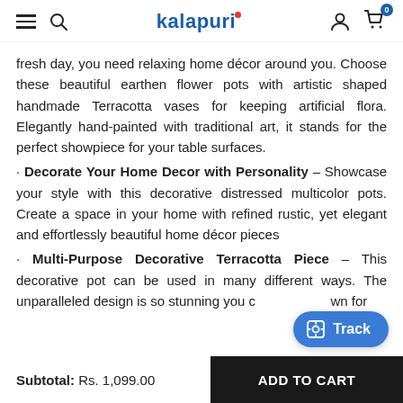kalapuri. [hamburger, search, user, cart icons]
fresh day, you need relaxing home décor around you. Choose these beautiful earthen flower pots with artistic shaped handmade Terracotta vases for keeping artificial flora. Elegantly hand-painted with traditional art, it stands for the perfect showpiece for your table surfaces.
· Decorate Your Home Decor with Personality – Showcase your style with this decorative distressed multicolor pots. Create a space in your home with refined rustic, yet elegant and effortlessly beautiful home décor pieces
· Multi-Purpose Decorative Terracotta Piece – This decorative pot can be used in many different ways. The unparalleled design is so stunning you c[Track button]wn for
Subtotal: Rs. 1,099.00
ADD TO CART